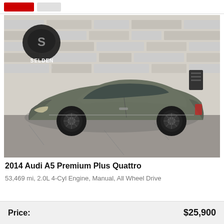[Figure (photo): A grey 2014 Audi A5 Premium Plus Quattro coupe with black wheels parked in front of a stone wall. The Selden Motors dealership logo is visible in the upper left corner of the photo.]
2014 Audi A5 Premium Plus Quattro
53,469 mi, 2.0L 4-Cyl Engine, Manual, All Wheel Drive
| Price: | $25,900 |
| --- | --- |